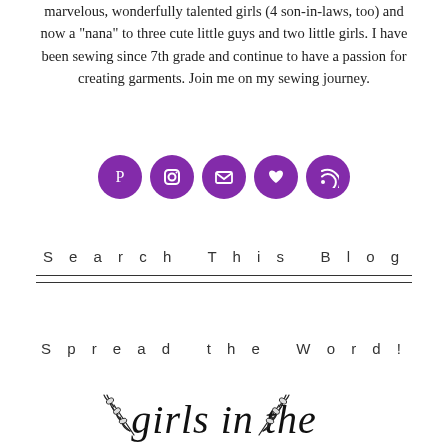marvelous, wonderfully talented girls (4 son-in-laws, too) and now a "nana" to three cute little guys and two little girls. I have been sewing since 7th grade and continue to have a passion for creating garments. Join me on my sewing journey.
[Figure (infographic): Five purple circular social media icon buttons: Pinterest, Instagram, Email, Heart/Bloglovin, RSS]
Search This Blog
Spread the Word!
[Figure (logo): Girls in the (script logo with leaf/branch decorations on both sides)]